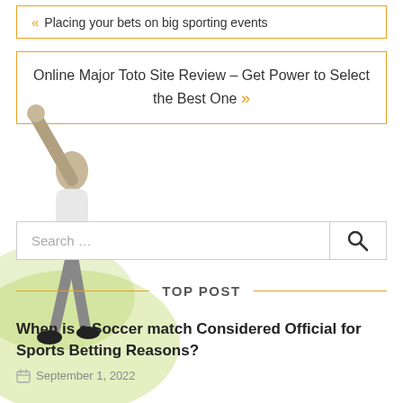« Placing your bets on big sporting events
Online Major Toto Site Review – Get Power to Select the Best One »
[Figure (photo): Athlete with arm raised in celebration, green smoke effect in background]
Search …
TOP POST
When is a Soccer match Considered Official for Sports Betting Reasons?
September 1, 2022